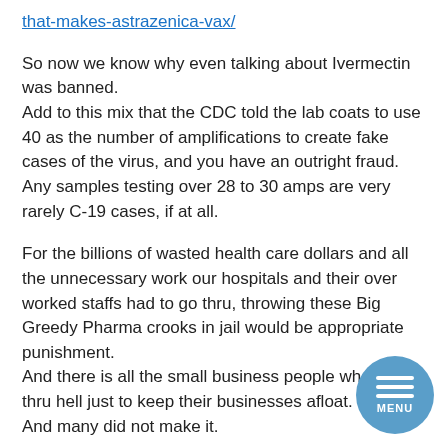that-makes-astrazenica-vax/
So now we know why even talking about Ivermectin was banned.
Add to this mix that the CDC told the lab coats to use 40 as the number of amplifications to create fake cases of the virus, and you have an outright fraud. Any samples testing over 28 to 30 amps are very rarely C-19 cases, if at all.
For the billions of wasted health care dollars and all the unnecessary work our hospitals and their over worked staffs had to go thru, throwing these Big Greedy Pharma crooks in jail would be appropriate punishment.
And there is all the small business people who went thru hell just to keep their businesses afloat.
And many did not make it.